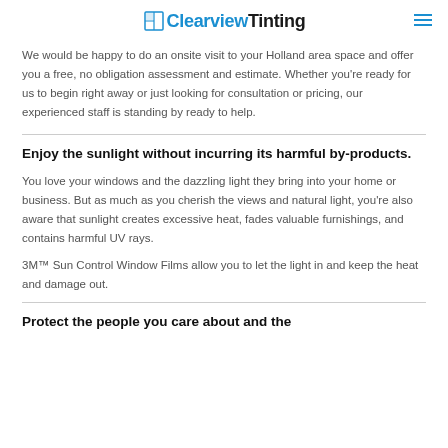Clearview Tinting
We would be happy to do an onsite visit to your Holland area space and offer you a free, no obligation assessment and estimate. Whether you're ready for us to begin right away or just looking for consultation or pricing, our experienced staff is standing by ready to help.
Enjoy the sunlight without incurring its harmful by-products.
You love your windows and the dazzling light they bring into your home or business. But as much as you cherish the views and natural light, you're also aware that sunlight creates excessive heat, fades valuable furnishings, and contains harmful UV rays.
3M™ Sun Control Window Films allow you to let the light in and keep the heat and damage out.
Protect the people you care about and the